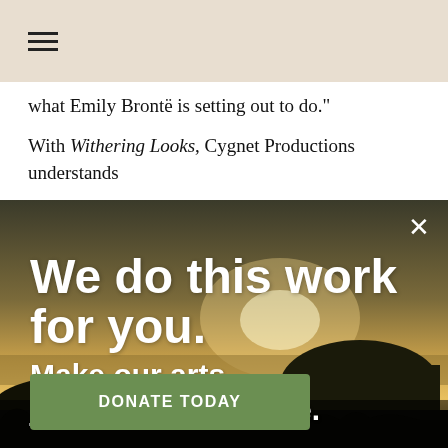≡
what Emily Brontë is setting out to do."
With Withering Looks, Cygnet Productions understands
[Figure (photo): Sunset landscape over rocky coastal cliffs with silhouetted foreground vegetation. Overlay advertisement text reads: 'We do this work for you. Make our arts journalism possible.' with a green DONATE TODAY button and a close (×) button in the top-right corner.]